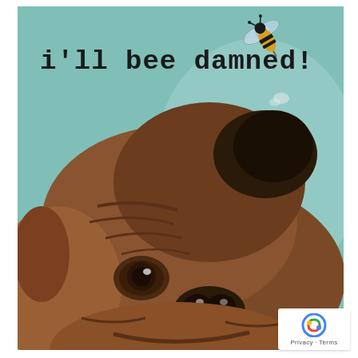[Figure (illustration): Vintage humorous illustration of a bulldog looking upward at a bee flying near its head. The dog's wrinkled face fills most of the image. Text in the upper left reads 'i'll bee damned!' in a typewriter-style font. A bee is visible in the upper right corner. The background is a teal/mint color. A Google reCAPTCHA badge with 'Privacy - Terms' text appears in the lower right corner.]